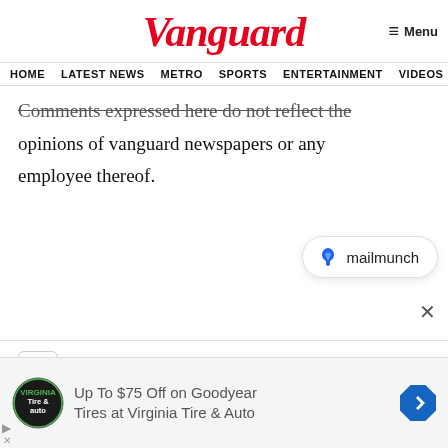Vanguard
HOME  LATEST NEWS  METRO  SPORTS  ENTERTAINMENT  VIDEOS
Comments expressed here do not reflect the opinions of vanguard newspapers or any employee thereof.
[Figure (logo): Mailmunch branding widget with blue flame logo and text 'mailmunch']
×
Join Our Newsletter
[Figure (infographic): Advertisement: Up To $75 Off on Goodyear Tires at Virginia Tire & Auto, with Virginia Tire & Auto logo and blue navigation arrow icon]